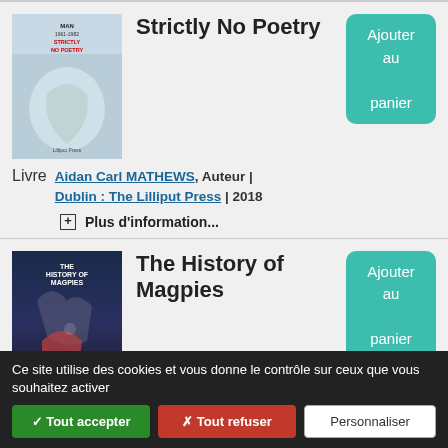[Figure (illustration): Book cover for Strictly No Poetry]
Strictly No Poetry
Ajouter au panier
Livre
Aidan Carl MATHEWS, Auteur | Dublin : The Lilliput Press | 2018
Plus d'information...
[Figure (illustration): Book cover for The History of Magpies]
The History of Magpies
Ajouter au panier
Livre
Desmond HOGAN, Auteur | Dublin : The Lilliput Press | 2017
Ce site utilise des cookies et vous donne le contrôle sur ceux que vous souhaitez activer
✓ Tout accepter   ✗ Tout refuser   Personnaliser